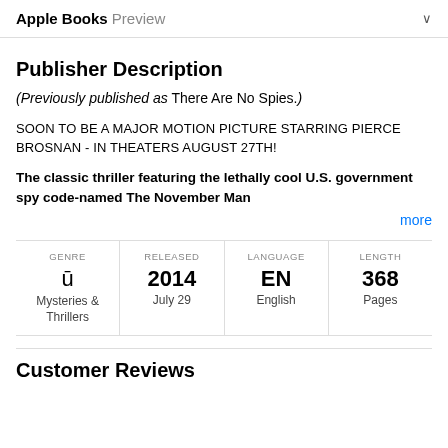Apple Books Preview
Publisher Description
(Previously published as There Are No Spies.)
SOON TO BE A MAJOR MOTION PICTURE STARRING PIERCE BROSNAN - IN THEATERS AUGUST 27TH!
The classic thriller featuring the lethally cool U.S. government spy code-named The November Man
more
| GENRE | RELEASED | LANGUAGE | LENGTH |
| --- | --- | --- | --- |
| Mysteries & Thrillers | 2014 July 29 | EN English | 368 Pages |
Customer Reviews